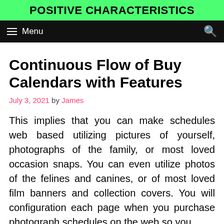POSITIVE CHARACTERISTICS
Menu
Continuous Flow of Buy Calendars with Features
July 3, 2021 by James
This implies that you can make schedules web based utilizing pictures of yourself, photographs of the family, or most loved occasion snaps. You can even utilize photos of the felines and canines, or of most loved film banners and collection covers. You will configuration each page when you purchase photograph schedules on the web so you